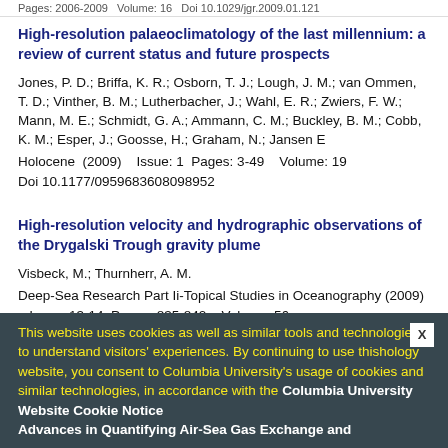Pages: 2006-2009   Volume: 16   Doi 10.1029/jgr.2009.01.121
High-resolution palaeoclimatology of the last millennium: a review of current status and future prospects
Jones, P. D.; Briffa, K. R.; Osborn, T. J.; Lough, J. M.; van Ommen, T. D.; Vinther, B. M.; Lutherbacher, J.; Wahl, E. R.; Zwiers, F. W.; Mann, M. E.; Schmidt, G. A.; Ammann, C. M.; Buckley, B. M.; Cobb, K. M.; Esper, J.; Goosse, H.; Graham, N.; Jansen E
Holocene  (2009)    Issue: 1  Pages: 3-49    Volume: 19
Doi 10.1177/0959683608098952
High-resolution velocity and hydrographic observations of the Drygalski Trough gravity plume
Visbeck, M.; Thurnherr, A. M.
Deep-Sea Research Part Ii-Topical Studies in Oceanography (2009)    Issue: 13-14  Pages: 835-842    Volume: 56
DOI 10.1016/j.dsr2.2008.10.029
This website uses cookies as well as similar tools and technologies to understand visitors' experiences. By continuing to use this website, you consent to Columbia University's usage of cookies and similar technologies, in accordance with the Columbia University Website Cookie Notice
Advances in Quantifying Air-Sea Gas Exchange and